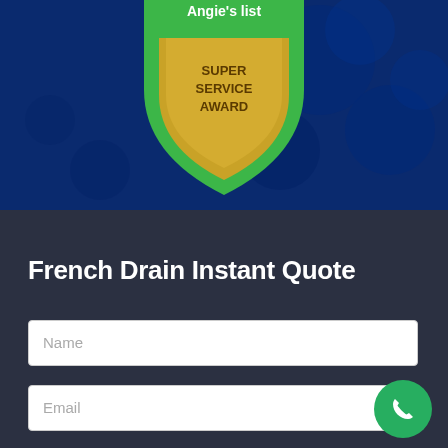[Figure (logo): Angie's List Super Service Award badge/shield with green top and gold bottom, showing text 'Angie's list SUPER SERVICE AWARD' on a dark blue background with blurred circle bokeh effects]
French Drain Instant Quote
Name
Email
Phone